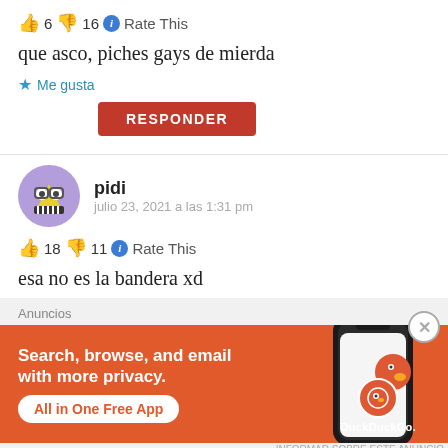👍 6 👎 16 ℹ Rate This
que asco, piches gays de mierda
★ Me gusta
RESPONDER
pidi — julio 23, 2021 a las 1:31 pm
👍 18 👎 11 ℹ Rate This
esa no es la bandera xd
[Figure (screenshot): DuckDuckGo advertisement banner with orange background, text 'Search, browse, and email with more privacy. All in One Free App', and phone illustration with DuckDuckGo logo]